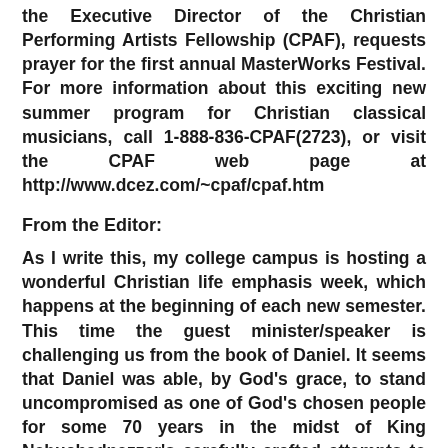the Executive Director of the Christian Performing Artists Fellowship (CPAF), requests prayer for the first annual MasterWorks Festival. For more information about this exciting new summer program for Christian classical musicians, call 1-888-836-CPAF(2723), or visit the CPAF web page at http://www.dcez.com/~cpaf/cpaf.htm
From the Editor:
As I write this, my college campus is hosting a wonderful Christian life emphasis week, which happens at the beginning of each new semester. This time the guest minister/speaker is challenging us from the book of Daniel. It seems that Daniel was able, by God's grace, to stand uncompromised as one of God's chosen people for some 70 years in the midst of King Nebuchadnezzer's carefully crafted attempts to assimilate him into pagan Babylonian culture. Note in Psalm 137 that not all the exiled Israelites were successful in resisting